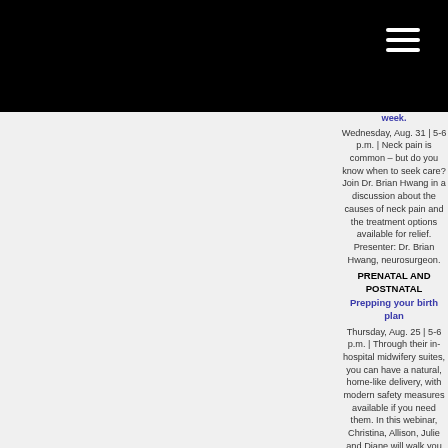week.
Wednesday, Aug. 31 | 5-6 p.m. | Neck pain is common – but do you know when to seek care? Join Dr. Brian Hwang in a discussion about the causes of neck pain and the treatment options available for relief. Presenter: Dr. Brian Hwang, neurosurgeon.
PRENATAL AND POSTNATAL
Prepping your birth plan
Thursday, Aug. 25 | 5-6 p.m. | Through their in-hospital midwifery suites, you can have a natural, home-like delivery, with modern safety measures available if you need them. In this webinar, Christina, Allison, Julie and Diane will walk you through your birthing options so you can prep your plan. The Midwives of Mission Heritage OB/GYN: Christina Gabel, Allison Molinski, Julie Vivalda and Diane Upton.